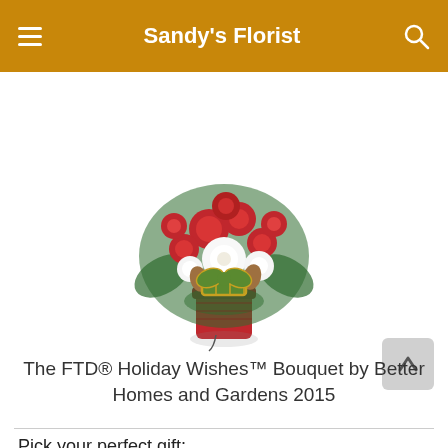Sandy's Florist
[Figure (photo): Holiday flower bouquet with red and white roses, carnations, pine cones, and a plaid ribbon in a red vase]
The FTD® Holiday Wishes™ Bouquet by Better Homes and Gardens 2015
Pick your perfect gift: